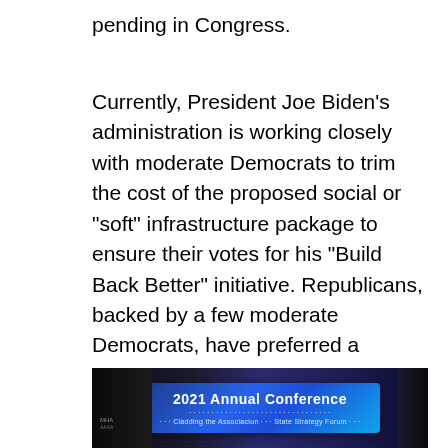pending in Congress.

Currently, President Joe Biden’s administration is working closely with moderate Democrats to trim the cost of the proposed social or “soft” infrastructure package to ensure their votes for his “Build Back Better” initiative. Republicans, backed by a few moderate Democrats, have preferred a version that considers traditional hard infrastructure items only. House Speaker Nancy Pelosi had originally hoped to reach agreement on a reconciliation bill and bring the measure to a vote by the end of September, then by the end of October.
[Figure (photo): Photo of a conference stage with a banner reading '2021 Annual Conference' on a blue background, with dark curtains on either side.]